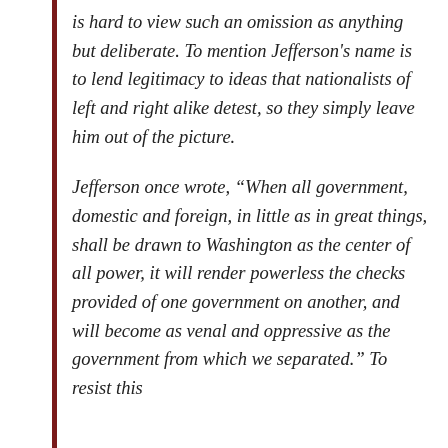is hard to view such an omission as anything but deliberate. To mention Jefferson's name is to lend legitimacy to ideas that nationalists of left and right alike detest, so they simply leave him out of the picture.
Jefferson once wrote, “When all government, domestic and foreign, in little as in great things, shall be drawn to Washington as the center of all power, it will render powerless the checks provided of one government on another, and will become as venal and oppressive as the government from which we separated.” To resist this